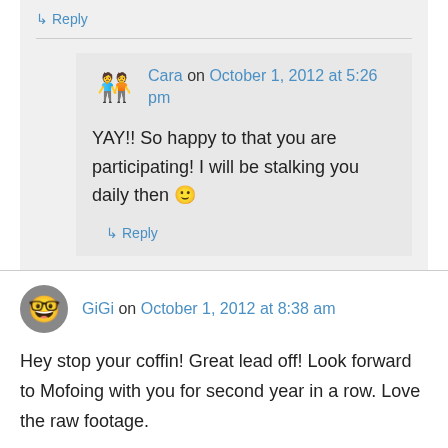↳ Reply
Cara on October 1, 2012 at 5:26 pm
YAY!! So happy to that you are participating! I will be stalking you daily then 🙂
↳ Reply
GiGi on October 1, 2012 at 8:38 am
Hey stop your coffin! Great lead off! Look forward to Mofoing with you for second year in a row. Love the raw footage.